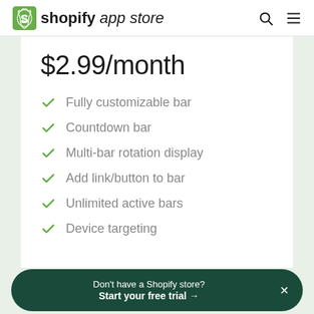shopify app store
$2.99/month
Fully customizable bar
Countdown bar
Multi-bar rotation display
Add link/button to bar
Unlimited active bars
Device targeting
Don't have a Shopify store? Start your free trial →